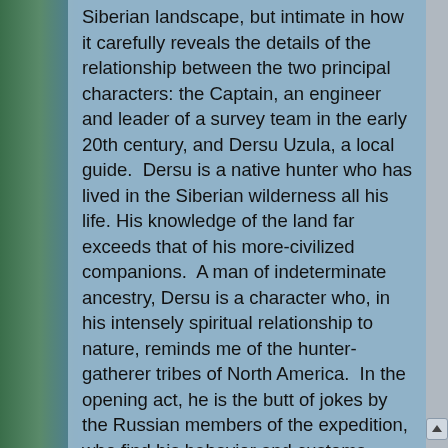Siberian landscape, but intimate in how it carefully reveals the details of the relationship between the two principal characters: the Captain, an engineer and leader of a survey team in the early 20th century, and Dersu Uzula, a local guide.  Dersu is a native hunter who has lived in the Siberian wilderness all his life. His knowledge of the land far exceeds that of his more-civilized companions.  A man of indeterminate ancestry, Dersu is a character who, in his intensely spiritual relationship to nature, reminds me of the hunter-gatherer tribes of North America.  In the opening act, he is the butt of jokes by the Russian members of the expedition, who find his behavior and customs peculiar and barbarous.  Over time, however, he shows his value as a hunter, through his particular knowledge of the land and by employing his survival skills to, time after time, save his Russian colleagues from disaster and